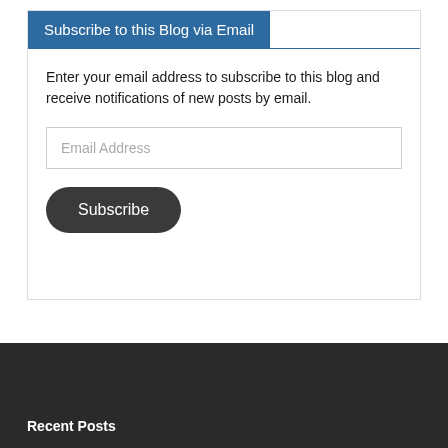Subscribe to this Blog via Email
Enter your email address to subscribe to this blog and receive notifications of new posts by email.
Email Address
Subscribe
Recent Posts